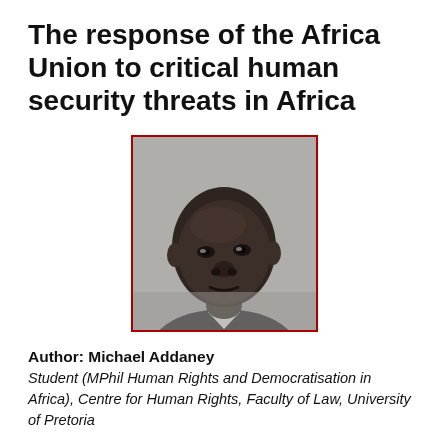The response of the Africa Union to critical human security threats in Africa
[Figure (photo): Black and white portrait photograph of Michael Addaney, a man looking slightly to the side]
Author: Michael Addaney
Student (MPhil Human Rights and Democratisation in Africa), Centre for Human Rights, Faculty of Law, University of Pretoria
Africa, the second most populous continent with the fastest growing population on the globe faces complex